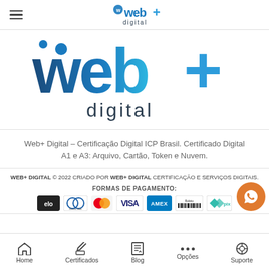Web+ Digital — header with hamburger menu and logo
[Figure (logo): Web+ Digital large logo — stylized 'web+' text in teal/blue gradient with 'digital' subtitle]
Web+ Digital – Certificação Digital ICP Brasil. Certificado Digital A1 e A3: Arquivo, Cartão, Token e Nuvem.
WEB+ DIGITAL © 2022 CRIADO POR WEB+ DIGITAL CERTIFICAÇÃO E SERVIÇOS DIGITAIS.
FORMAS DE PAGAMENTO:
[Figure (logo): Payment method icons: Elo, Diners Club International, Mastercard, Visa, American Express, Boleto, Pix]
Home | Certificados | Blog | Opções | Suporte